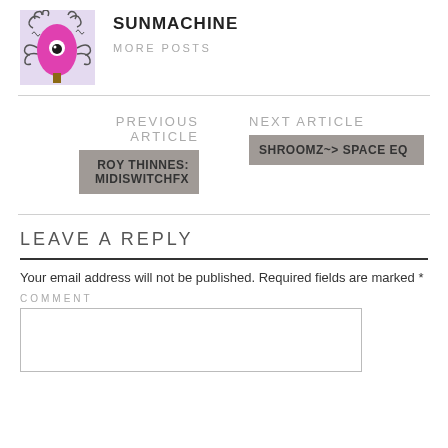[Figure (illustration): Cartoon monster character: pink egg-shaped body with tentacles/arms, one eye, on a brown branch/stem, with squiggly lines around it, on light purple background]
SUNMACHINE
MORE POSTS
PREVIOUS ARTICLE
ROY THINNES: MIDISWITCHFX
NEXT ARTICLE
SHROOMZ~> SPACE EQ
LEAVE A REPLY
Your email address will not be published. Required fields are marked *
COMMENT